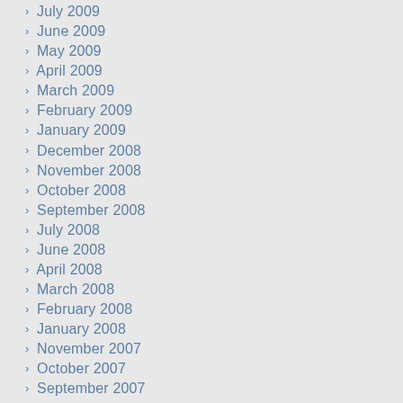› July 2009
› June 2009
› May 2009
› April 2009
› March 2009
› February 2009
› January 2009
› December 2008
› November 2008
› October 2008
› September 2008
› July 2008
› June 2008
› April 2008
› March 2008
› February 2008
› January 2008
› November 2007
› October 2007
› September 2007
› August 2007
› July 2007
› June 2007
› May 2007
› April 2007